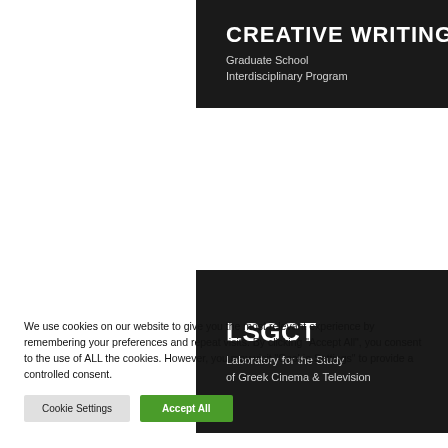[Figure (logo): Dark banner with white bold text reading 'CREATIVE WRITING' and subtitle 'Graduate School Interdisciplinary Program']
[Figure (logo): Dark banner with white text reading 'LSGCT' and subtitle 'Laboratory for the Study of Greek Cinema & Television']
We use cookies on our website to give you the most relevant experience by remembering your preferences and repeat visits. By clicking "Accept All", you consent to the use of ALL the cookies. However, you may visit "Cookie Settings" to provide a controlled consent.